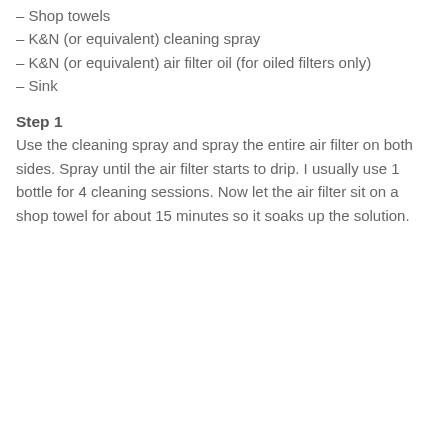– Shop towels
– K&N (or equivalent) cleaning spray
– K&N (or equivalent) air filter oil (for oiled filters only)
– Sink
Step 1
Use the cleaning spray and spray the entire air filter on both sides. Spray until the air filter starts to drip. I usually use 1 bottle for 4 cleaning sessions. Now let the air filter sit on a shop towel for about 15 minutes so it soaks up the solution.